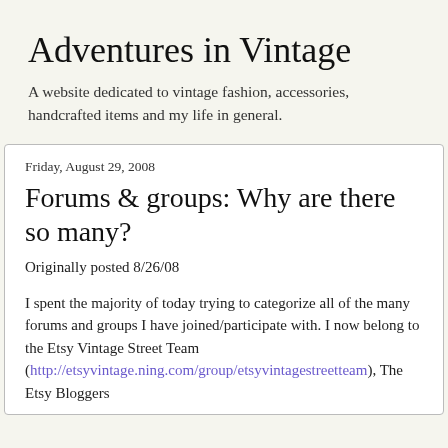Adventures in Vintage
A website dedicated to vintage fashion, accessories, handcrafted items and my life in general.
Friday, August 29, 2008
Forums & groups: Why are there so many?
Originally posted 8/26/08
I spent the majority of today trying to categorize all of the many forums and groups I have joined/participate with. I now belong to the Etsy Vintage Street Team (http://etsyvintage.ning.com/group/etsyvintagestreetteam), The Etsy Bloggers